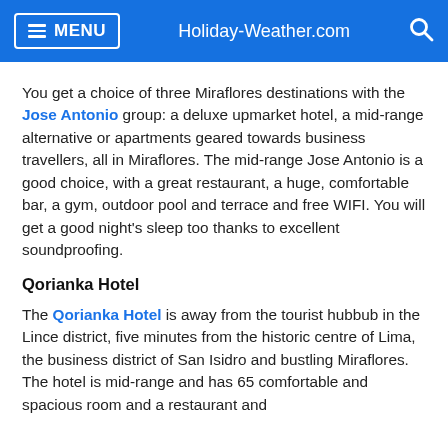MENU   Holiday-Weather.com
You get a choice of three Miraflores destinations with the Jose Antonio group: a deluxe upmarket hotel, a mid-range alternative or apartments geared towards business travellers, all in Miraflores. The mid-range Jose Antonio is a good choice, with a great restaurant, a huge, comfortable bar, a gym, outdoor pool and terrace and free WIFI. You will get a good night's sleep too thanks to excellent soundproofing.
Qorianka Hotel
The Qorianka Hotel is away from the tourist hubbub in the Lince district, five minutes from the historic centre of Lima, the business district of San Isidro and bustling Miraflores. The hotel is mid-range and has 65 comfortable and spacious room and a restaurant and